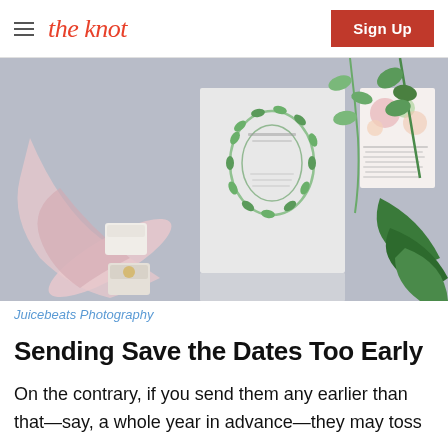the knot | Sign Up
[Figure (photo): Flat lay photo of wedding stationery including save the date cards with greenery wreath design, floral design cards, a velvet ring box, pink satin ribbon, and fresh green herbs and leaves on a light grey background.]
Juicebeats Photography
Sending Save the Dates Too Early
On the contrary, if you send them any earlier than that—say, a whole year in advance—they may toss